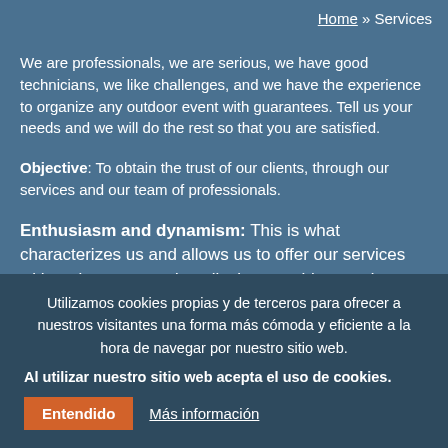Home » Services
We are professionals, we are serious, we have good technicians, we like challenges, and we have the experience to organize any outdoor event with guarantees. Tell us your needs and we will do the rest so that you are satisfied.
Objective: To obtain the trust of our clients, through our services and our team of professionals.
Enthusiasm and dynamism: This is what characterizes us and allows us to offer our services with seriousness and quality in everything we do.
Ideas and resources: We are at your disposal to plan days where you can experience unique and diverse emotions, making it possible to adapt to countless organizational resources.
Some of our Services:
Incentives for companies
Company events
Team building and motivation
Birthday gifts
Utilizamos cookies propias y de terceros para ofrecer a nuestros visitantes una forma más cómoda y eficiente a la hora de navegar por nuestro sitio web.
Al utilizar nuestro sitio web acepta el uso de cookies.
Entendido | Más información